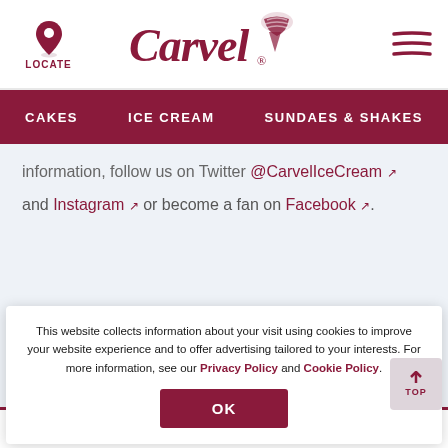[Figure (logo): Carvel ice cream logo with cone icon, locate button on left with location pin icon, hamburger menu on right]
CAKES   ICE CREAM   SUNDAES & SHAKES
information, follow us on Twitter @CarvelIceCream and Instagram or become a fan on Facebook.
This website collects information about your visit using cookies to improve your website experience and to offer advertising tailored to your interests. For more information, see our Privacy Policy and Cookie Policy.
ABOUT   PRESS